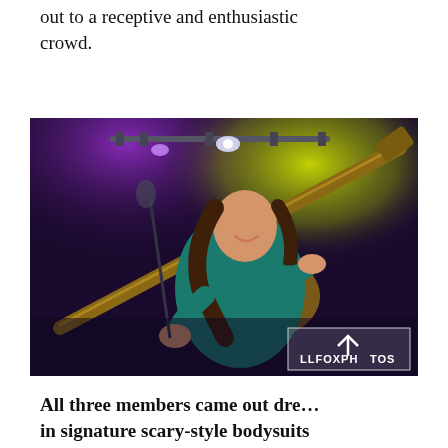out to a receptive and enthusiastic crowd.
[Figure (photo): A smiling woman playing a bass guitar on stage under colorful stage lights (purple and yellow/green). She is wearing a teal top and dark pants. A photographer's watermark 'LLFOXPHOTOS' appears in the lower right corner of the image.]
All three members came out dre... in signature scary-style bodysuits